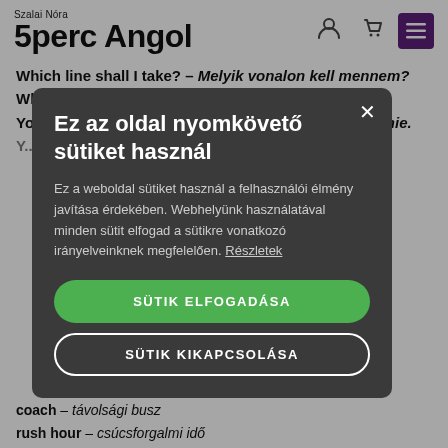Szalai Nóra 5perc Angol
Which line shall I take? – Melyik vonalon kell mennem?
Which direction? – Milyen irányba?
You have to go eastbound. – Keleti irányba kell mennie.
[Figure (screenshot): Cookie consent modal dialog with dark background overlay. Title: 'Ez az oldal nyomkövető sütiket használ'. Body text about cookie usage. Two buttons: 'SÜTIK ELFOGADÁSA' (green) and 'SÜTIK KIKAPCSOLÁSA' (outlined).]
coach – távolsági busz
rush hour – csúcsforgalmi idő